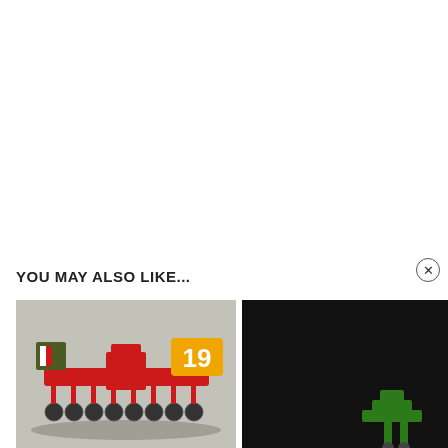YOU MAY ALSO LIKE...
[Figure (screenshot): Screenshot of a red disc harrow / cultivator farming machine in a video game (Farming Simulator 19) shown against a light grey background, with a gold '19' badge in the upper right.]
[Figure (screenshot): Black video player panel with a white play button triangle in the center, partially showing a green farming machine at the bottom right.]